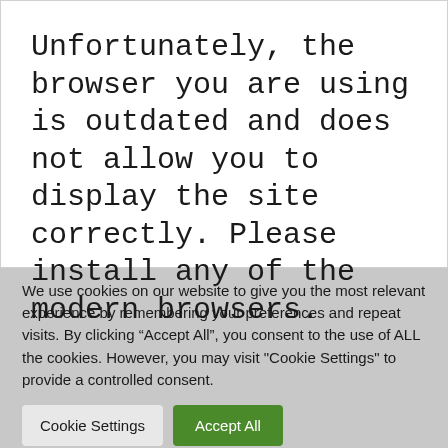Unfortunately, the browser you are using is outdated and does not allow you to display the site correctly. Please install any of the modern browsers.
We use cookies on our website to give you the most relevant experience by remembering your preferences and repeat visits. By clicking “Accept All”, you consent to the use of ALL the cookies. However, you may visit "Cookie Settings" to provide a controlled consent.
Cookie Settings
Accept All